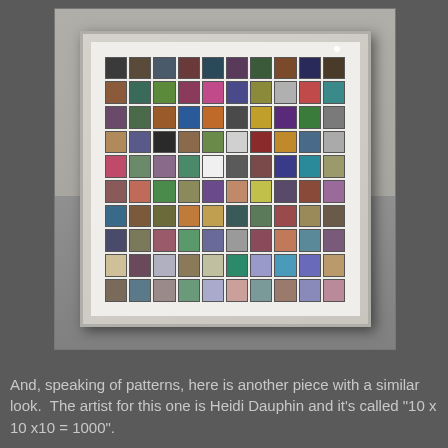[Figure (photo): A framed artwork displayed in a white shadow box frame. The piece consists of a 10x10 grid of 100 small colorful square canvases, each featuring various objects and patterns on differently colored backgrounds. The artwork is titled '10 x 10 x10 = 1000' by artist Heidi Dauphin.]
And, speaking of patterns, here is another piece with a similar look.  The artist for this one is Heidi Dauphin and it's called "10 x 10 x10 = 1000".